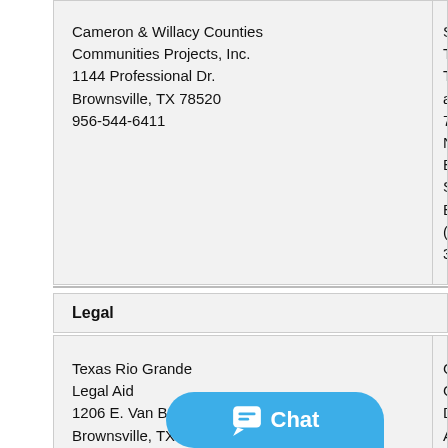| Organization | Organization2 |
| --- | --- |
| Cameron & Willacy Counties Communities Projects, Inc.
1144 Professional Dr.
Brownsville, TX 78520
956-544-6411 | South T... Training... assista...
743 No...
Blvd.
San Be...
(956) 3... |
Legal
| Organization | Organization2 |
| --- | --- |
| Texas Rio Grande Legal Aid
1206 E. Van Buren St.
Brownsville, TX 78520
(956) 982-5540 | Cameron Co...
District Attorn...
964 E Harris...
Brownsville, T...
(956) 544-08... |
Housing
| Organization | Organization2 |
| --- | --- |
| Brownsville Housing Authority
2606 Boca Chica Blvd.
Br... 8521
(9... | Camero...
Authori...
65 Cast...
Browns...
(956) 54... |